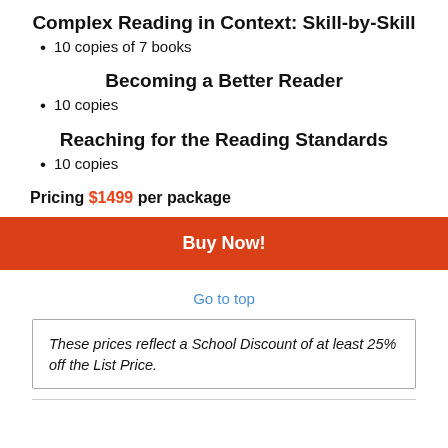Complex Reading in Context: Skill-by-Skill
10 copies of 7 books
Becoming a Better Reader
10 copies
Reaching for the Reading Standards
10 copies
Pricing $1499 per package
Buy Now!
Go to top
These prices reflect a School Discount of at least 25% off the List Price.